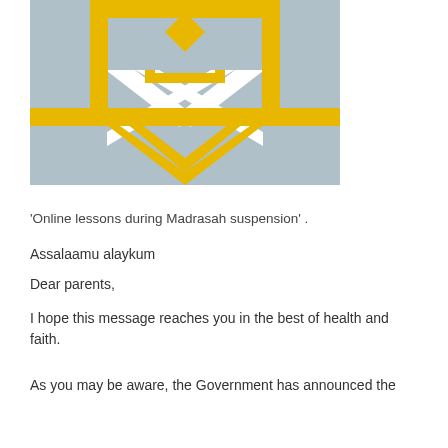[Figure (logo): Geometric Islamic pattern logo with gold/yellow and grey-blue colors, featuring star and diamond shapes with a chevron/arrow pointing down]
'Online lessons during Madrasah suspension' .
Assalaamu alaykum
Dear parents,
I hope this message reaches you in the best of health and faith.
As you may be aware, the Government has announced the